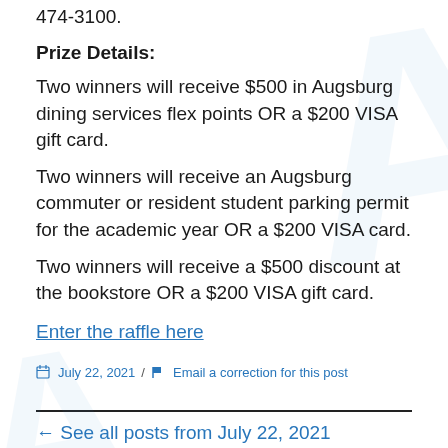474-3100.
Prize Details:
Two winners will receive $500 in Augsburg dining services flex points OR a $200 VISA gift card.
Two winners will receive an Augsburg commuter or resident student parking permit for the academic year OR a $200 VISA card.
Two winners will receive a $500 discount at the bookstore OR a $200 VISA gift card.
Enter the raffle here
July 22, 2021 / Email a correction for this post
← See all posts from July 22, 2021